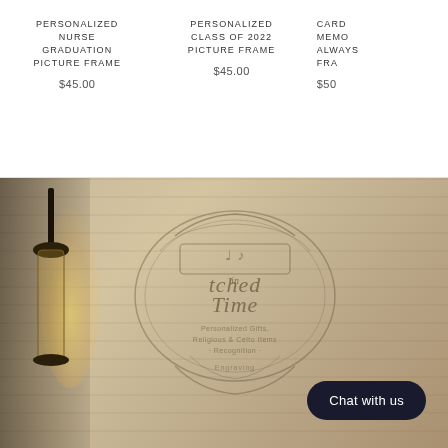PERSONALIZED NURSE GRADUATION PICTURE FRAME
$45.00
PERSONALIZED CLASS OF 2022 PICTURE FRAME
$45.00
CARD MEMO ALWAYS FRA
$50
[Figure (photo): Wooden background with a lantern lamp on the left side and an 'Etched in Time' brand logo engraved in the center showing a decorative crest with text 'Personalized Gifts, Religious & Celto Items, Recognition, Engraving'. A dark rounded 'Chat with us' button is in the bottom right.]